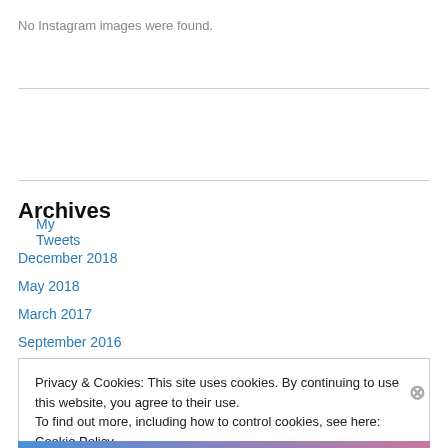No Instagram images were found.
My Tweets
Archives
December 2018
May 2018
March 2017
September 2016
Privacy & Cookies: This site uses cookies. By continuing to use this website, you agree to their use.
To find out more, including how to control cookies, see here: Cookie Policy
Close and accept